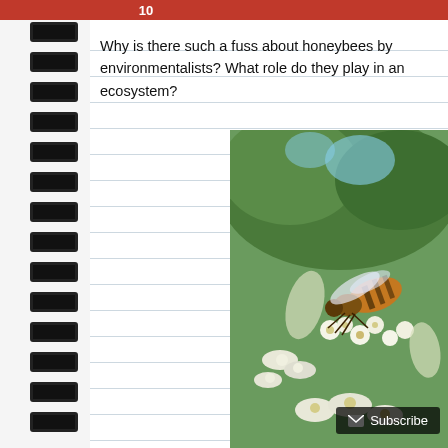10
Why is there such a fuss about honeybees by environmen... ecosystem?
[Figure (photo): Close-up photograph of a honeybee on white flowers with green foliage in the background]
Subscribe